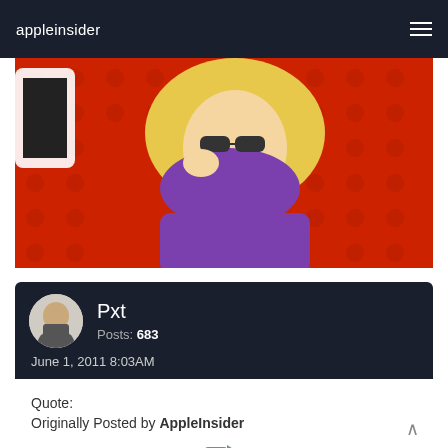appleinsider
[Figure (illustration): Cartoon illustration of a blonde woman in a purple top, facepalming, on a red dotted background. Partial view of a white device on the left.]
Pxt
Posts: 683
June 1, 2011 8:03AM
Quote:
Originally Posted by AppleInsider